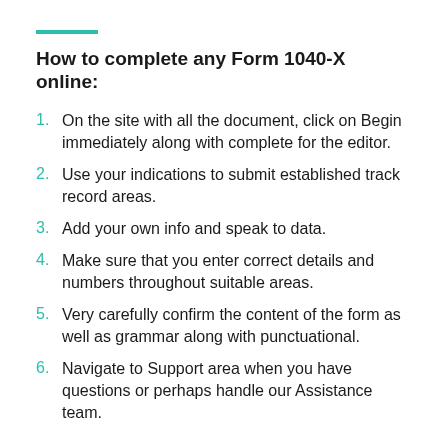How to complete any Form 1040-X online:
On the site with all the document, click on Begin immediately along with complete for the editor.
Use your indications to submit established track record areas.
Add your own info and speak to data.
Make sure that you enter correct details and numbers throughout suitable areas.
Very carefully confirm the content of the form as well as grammar along with punctuational.
Navigate to Support area when you have questions or perhaps handle our Assistance team.